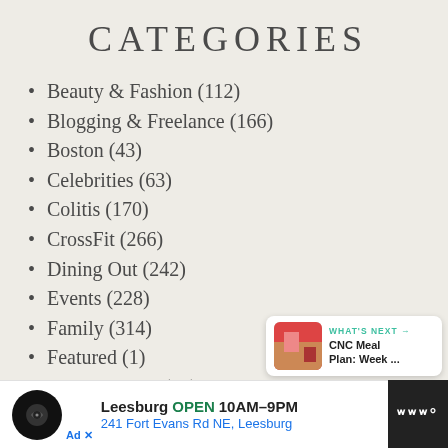CATEGORIES
Beauty & Fashion (112)
Blogging & Freelance (166)
Boston (43)
Celebrities (63)
Colitis (170)
CrossFit (266)
Dining Out (242)
Events (228)
Family (314)
Featured (1)
Fit Pregnancy (80)
Fitness (921)
FM Sponsored Post (3)
Fun & Adventures (711)
WHAT'S NEXT → CNC Meal Plan: Week ...
Leesburg OPEN 10AM–9PM 241 Fort Evans Rd NE, Leesburg